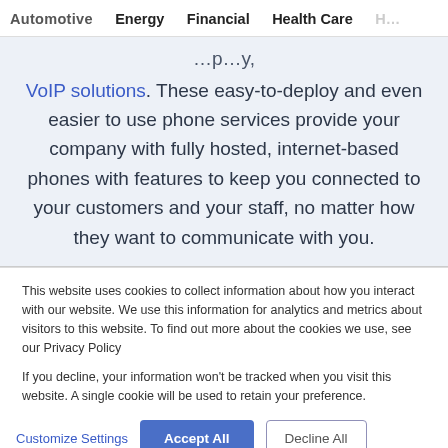Automotive   Energy   Financial   Health Care   H…
VoIP solutions. These easy-to-deploy and even easier to use phone services provide your company with fully hosted, internet-based phones with features to keep you connected to your customers and your staff, no matter how they want to communicate with you.
This website uses cookies to collect information about how you interact with our website. We use this information for analytics and metrics about visitors to this website. To find out more about the cookies we use, see our Privacy Policy
If you decline, your information won't be tracked when you visit this website. A single cookie will be used to retain your preference.
Customize Settings   Accept All   Decline All